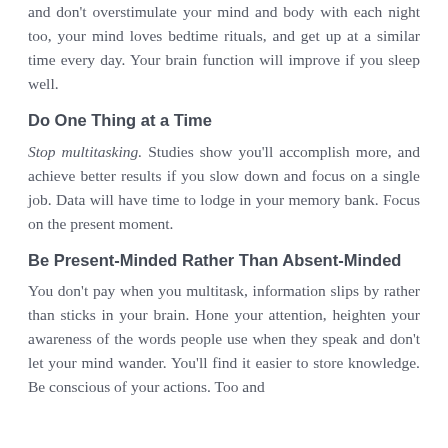and don't overstimulate your mind and body with each night too, your mind loves bedtime rituals, and get up at a similar time every day. Your brain function will improve if you sleep well.
Do One Thing at a Time
Stop multitasking. Studies show you'll accomplish more, and achieve better results if you slow down and focus on a single job. Data will have time to lodge in your memory bank. Focus on the present moment.
Be Present-Minded Rather Than Absent-Minded
You don't pay when you multitask, information slips by rather than sticks in your brain. Hone your attention, heighten your awareness of the words people use when they speak and don't let your mind wander. You'll find it easier to store knowledge. Be conscious of your actions. Too and